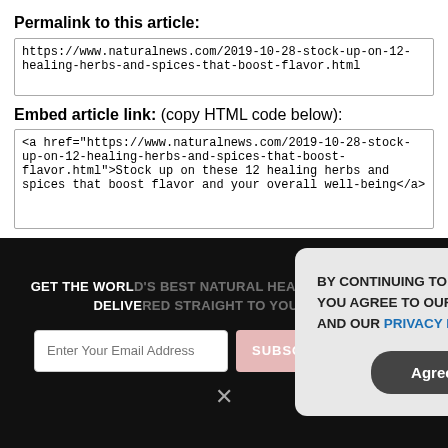Permalink to this article:
https://www.naturalnews.com/2019-10-28-stock-up-on-12-healing-herbs-and-spices-that-boost-flavor.html
Embed article link: (copy HTML code below):
<a href="https://www.naturalnews.com/2019-10-28-stock-up-on-12-healing-herbs-and-spices-that-boost-flavor.html">Stock up on these 12 healing herbs and spices that boost flavor and your overall well-being</a>
Reprinting this article:
Non-commercial use OK, cite NaturalNews.com with clickable link.
Follow Natural News on Diaspora, AllSocial, USA Life, Parler
GET THE WORLD'S BEST NATURAL HEALTH NEWSLETTER DELIVERED STRAIGHT TO YOUR INBOX
Enter Your Email Address
SUBSCRIBE
BY CONTINUING TO BROWSE OUR SITE YOU AGREE TO OUR USE OF COOKIES AND OUR PRIVACY POLICY.
Agree and close